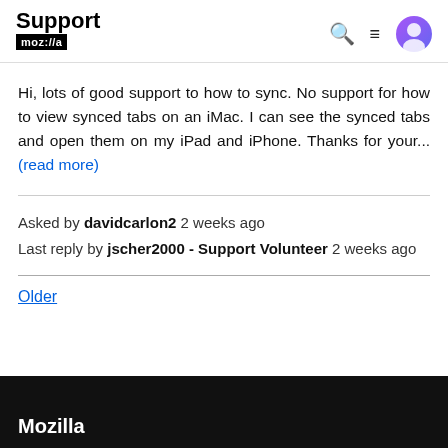Support moz://a
Hi, lots of good support to how to sync. No support for how to view synced tabs on an iMac. I can see the synced tabs and open them on my iPad and iPhone. Thanks for your... (read more)
Asked by davidcarlon2 2 weeks ago
Last reply by jscher2000 - Support Volunteer 2 weeks ago
Older
Mozilla